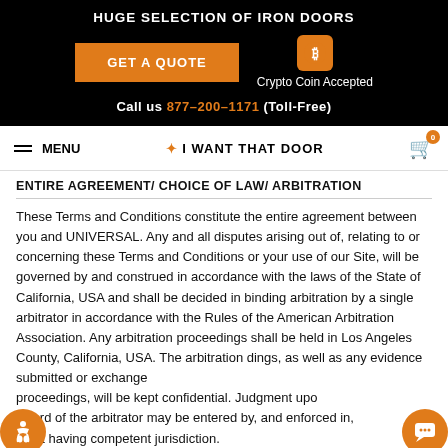HUGE SELECTION OF IRON DOORS
GET A QUOTE  |  Crypto Coin Accepted
Call us 877-200-1171 (Toll-Free)
MENU  ✦ I WANT THAT DOOR  [cart: 0]
ENTIRE AGREEMENT/ CHOICE OF LAW/ ARBITRATION
These Terms and Conditions constitute the entire agreement between you and UNIVERSAL. Any and all disputes arising out of, relating to or concerning these Terms and Conditions or your use of our Site, will be governed by and construed in accordance with the laws of the State of California, USA and shall be decided in binding arbitration by a single arbitrator in accordance with the Rules of the American Arbitration Association. Any arbitration proceedings shall be held in Los Angeles County, California, USA. The arbitration dings, as well as any evidence submitted or exchanged proceedings, will be kept confidential. Judgment upon award of the arbitrator may be entered by, and enforced in, court having competent jurisdiction.